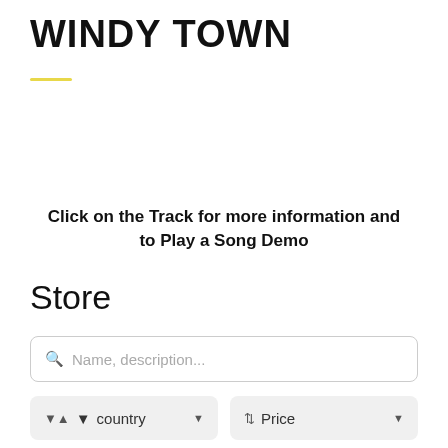WINDY TOWN
Click on the Track for more information and to Play a Song Demo
Store
Name, description...
country
Price